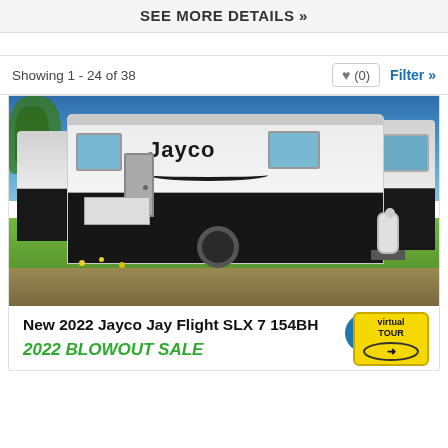SEE MORE DETAILS »
Showing 1 - 24 of 38
♥ (0)   Filter »
[Figure (photo): Photo of a 2022 Jayco Jay Flight SLX 7 154BH travel trailer parked on grass with blue sky background. Multiple trailers visible, propane tank on hitch, Jayco branding on side.]
New 2022 Jayco Jay Flight SLX 7 154BH
2022 BLOWOUT SALE